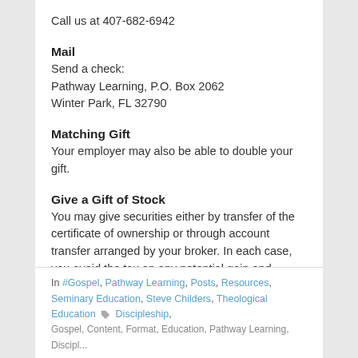Call us at 407-682-6942
Mail
Send a check:
Pathway Learning, P.O. Box 2062
Winter Park, FL 32790
Matching Gift
Your employer may also be able to double your gift.
Give a Gift of Stock
You may give securities either by transfer of the certificate of ownership or through account transfer arranged by your broker. In each case, you avoid the tax on any potential gain and receive a deduction for the full fair market value of securities. To give a gift of stock, email us at staff@pathwaylearning.org, call us at 407-682-6942, or write us at P.O. Box 2062, Winter Park, FL 32790.
In #Gospel, Pathway Learning, Posts, Resources, Seminary Education, Steve Childers, Theological Education  Discipleship,